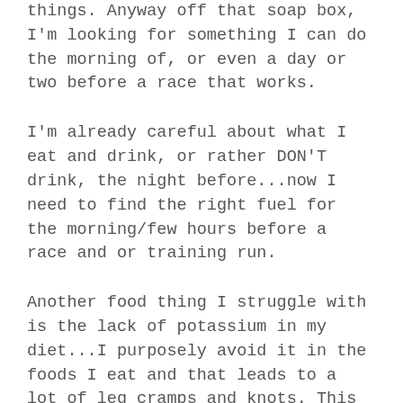things. Anyway off that soap box, I'm looking for something I can do the morning of, or even a day or two before a race that works.
I'm already careful about what I eat and drink, or rather DON'T drink, the night before...now I need to find the right fuel for the morning/few hours before a race and or training run.
Another food thing I struggle with is the lack of potassium in my diet...I purposely avoid it in the foods I eat and that leads to a lot of leg cramps and knots. This has been an issue long before I started running, but now that I'm running on top of my work out and sport schedule my muscles are not getting the break they used to and I have knots in my calves that don't go away ever. They don't always cramp,